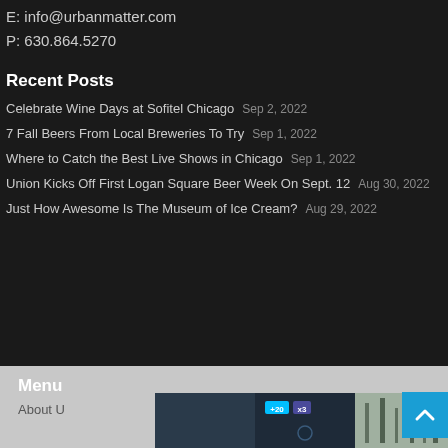E: info@urbanmatter.com
P: 630.864.5270
Recent Posts
Celebrate Wine Days at Sofitel Chicago    Sep 2, 2022
7 Fall Beers From Local Breweries To Try    Sep 1, 2022
Where to Catch the Best Live Shows in Chicago    Sep 1, 2022
Union Kicks Off First Logan Square Beer Week On Sept. 12    Aug 30, 2022
Just How Awesome Is The Museum of Ice Cream?    Aug 29, 2022
Menu
About U
[Figure (screenshot): Bottom footer area with a photo collage and scroll-to-top button]